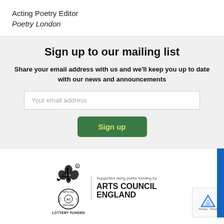Acting Poetry Editor
Poetry London
Sign up to our mailing list
Share your email address with us and we'll keep you up to date with our news and announcements
Your email address
Sign up
[Figure (logo): Arts Council England lottery funded logo with clover/hand symbol and circular Arts Council England seal, with text 'Supported using public funding by ARTS COUNCIL ENGLAND' and a reCAPTCHA badge on the right]